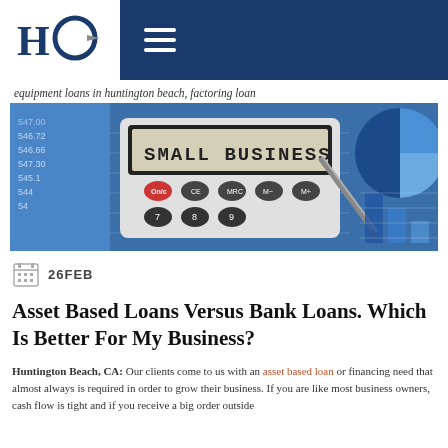HC [logo] — hamburger menu
equipment loans in huntington beach, factoring loan
[Figure (photo): Photo of a calculator displaying 'SMALL BUSINESS' on its screen, next to a pen, financial charts and a pie chart in the background]
26FEB
Asset Based Loans Versus Bank Loans. Which Is Better For My Business?
Huntington Beach, CA: Our clients come to us with an asset based loan or financing need that almost always is required in order to grow their business. If you are like most business owners, cash flow is tight and if you receive a big order outside